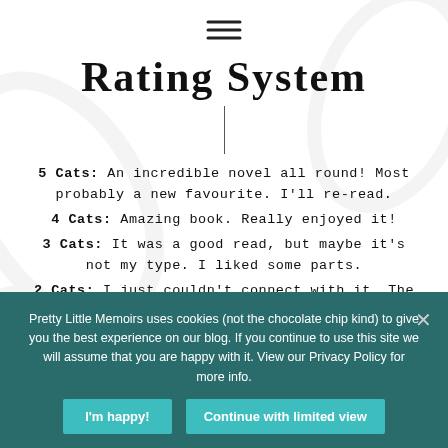[Figure (other): Hamburger menu icon (three horizontal lines)]
Rating System
5 Cats: An incredible novel all round! Most probably a new favourite. I'll re-read.
4 Cats: Amazing book. Really enjoyed it!
3 Cats: It was a good read, but maybe it's not my type. I liked some parts.
2 Cats: I just couldn't connect with it. The book had a few good points, but none that I like in a book.
Pretty Little Memoirs uses cookies (not the chocolate chip kind) to give you the best experience on our blog. If you continue to use this site we will assume that you are happy with it. View our Privacy Policy for more info.